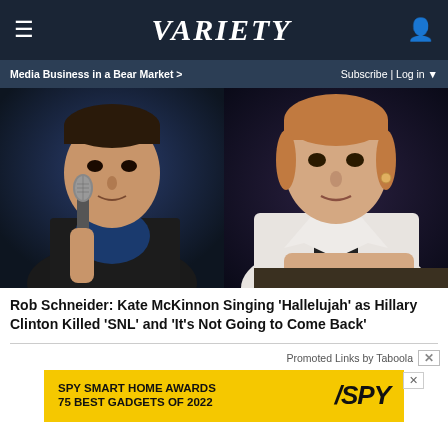VARIETY
Media Business in a Bear Market >
Subscribe | Log in ▼
[Figure (photo): Rob Schneider holding a microphone on the left, Kate McKinnon as Hillary Clinton on the right]
Rob Schneider: Kate McKinnon Singing 'Hallelujah' as Hillary Clinton Killed 'SNL' and 'It's Not Going to Come Back'
Promoted Links by Taboola
[Figure (infographic): SPY Smart Home Awards 75 Best Gadgets of 2022 advertisement banner in yellow with SPY logo]